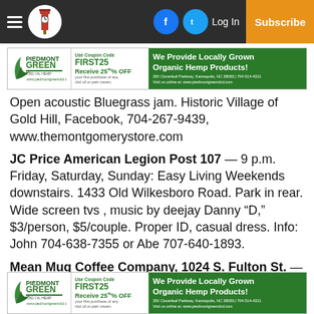Navigation bar with hamburger menu, logo, Facebook, Twitter icons, Log In, Subscribe
[Figure (infographic): Piedmont Green CBD advertisement banner: Use Coupon Code FIRST25, Receive 25% OFF your first purchase of any cbd oil or pain cream. We Provide Locally Grown Organic Hemp Products! 350 Cloverleaf Parkway, Kannapolis, NC 28083 | 704-514-4321 Visit us online at: www.piedmontgreencbd.com]
Open acoustic Bluegrass jam. Historic Village of Gold Hill, Facebook, 704-267-9439, www.themontgomerystore.com
JC Price American Legion Post 107 — 9 p.m. Friday, Saturday, Sunday: Easy Living Weekends downstairs. 1433 Old Wilkesboro Road. Park in rear. Wide screen tvs , music by deejay Danny “D,” $3/person, $5/couple. Proper ID, casual dress. Info: John 704-638-7355 or Abe 707-640-1893.
Mean Mug Coffee Company, 1024 S. Fulton St. — • Thursday: Game night 6-9 p.m. hosted by Nathan
[Figure (infographic): Piedmont Green CBD advertisement banner (bottom): Use Coupon Code FIRST25, Receive 25% OFF your first purchase of any cbd oil or pain cream. We Provide Locally Grown Organic Hemp Products! 350 Cloverleaf Parkway, Kannapolis, NC 28083 | 704-514-4321 Visit us online at: www.piedmontgreencbd.com]